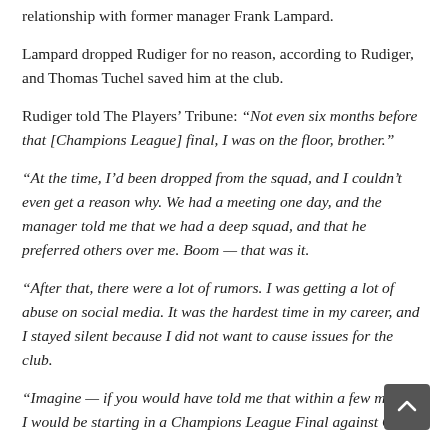relationship with former manager Frank Lampard.
Lampard dropped Rudiger for no reason, according to Rudiger, and Thomas Tuchel saved him at the club.
Rudiger told The Players' Tribune: “Not even six months before that [Champions League] final, I was on the floor, brother.”
“At the time, I’d been dropped from the squad, and I couldn’t even get a reason why. We had a meeting one day, and the manager told me that we had a deep squad, and that he preferred others over me. Boom — that was it.
“After that, there were a lot of rumors. I was getting a lot of abuse on social media. It was the hardest time in my career, and I stayed silent because I did not want to cause issues for the club.
“Imagine — if you would have told me that within a few months, I would be starting in a Champions League Final against City?
“When Tuchel came in as manager and gave me a chance, it wa